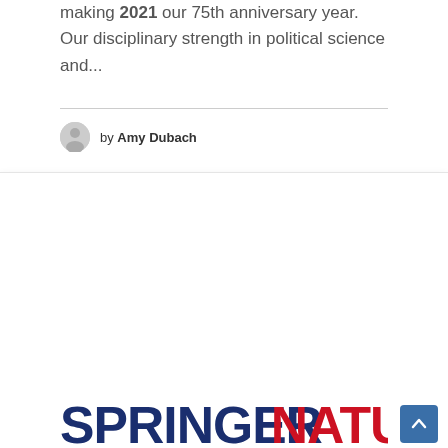making 2021 our 75th anniversary year. Our disciplinary strength in political science and...
by Amy Dubach
[Figure (logo): Springer Nature logo: 'SPRINGER' in dark navy bold, 'NATURE' in red bold]
Exhibitor Spotlight: Springer Nature
by Lorraine Klimowich, Senior Editor for Political Science, Economics, and Public Administration, Springer